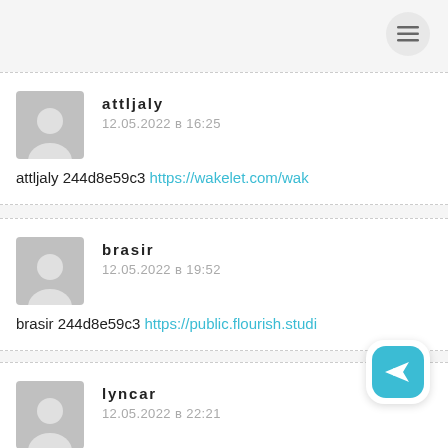attljaly
12.05.2022 в 16:25
attljaly 244d8e59c3 https://wakelet.com/wake...
brasir
12.05.2022 в 19:52
brasir 244d8e59c3 https://public.flourish.studi...
lyncar
12.05.2022 в 22:21
lyncar 244d8e59c3 https://wakele...ake...